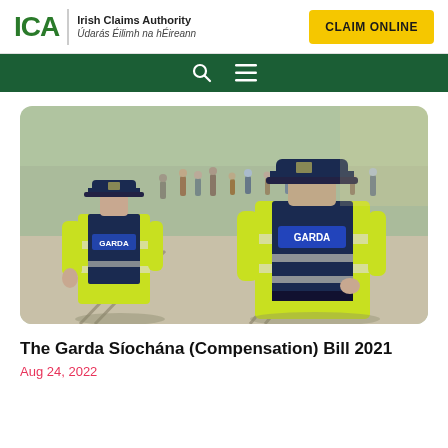ICA | Irish Claims Authority | Údarás Éilimh na hÉireann | CLAIM ONLINE
[Figure (photo): Two Garda officers viewed from behind wearing high-visibility yellow jackets with 'GARDA' written on the back, standing in a street with a crowd in the background.]
The Garda Síochána (Compensation) Bill 2021
Aug 24, 2022